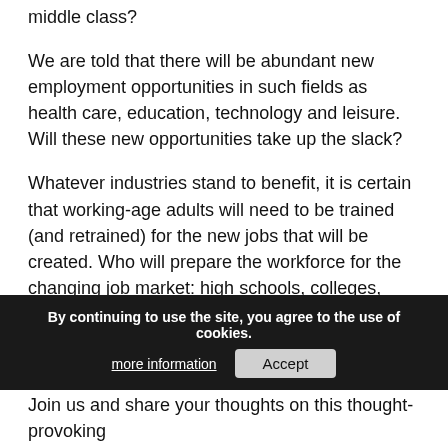middle class?
We are told that there will be abundant new employment opportunities in such fields as health care, education, technology and leisure. Will these new opportunities take up the slack?
Whatever industries stand to benefit, it is certain that working-age adults will need to be trained (and retrained) for the new jobs that will be created. Who will prepare the workforce for the changing job market: high schools, colleges, trade schools, employers?
Perhaps natural adjustments to the size of our workforce, such as the countryâ s birth rate coupled with the intake of immigrants, will ameliorate major unemployment problems. Or perhaps there will be other adjustments, such as the standard a work weeka, or red...
Join us and share your thoughts on this thought-provoking
By continuing to use the site, you agree to the use of cookies. more information  Accept